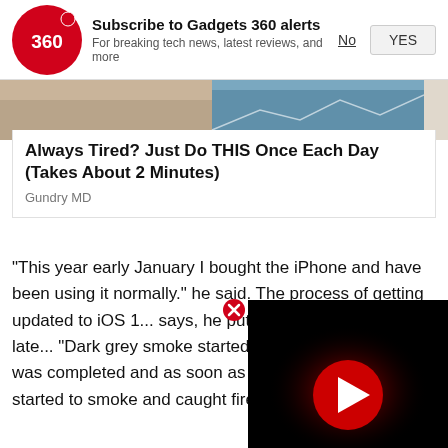[Figure (logo): Gadgets 360 logo — red circle with '360' in white text and a red dot to the right]
Subscribe to Gadgets 360 alerts
For breaking tech news, latest reviews, and more
[Figure (photo): Partial image strip showing a person and a stock chart background]
Always Tired? Just Do THIS Once Each Day (Takes About 2 Minutes)
Gundry MD
“This year early January I bought the iPhone and have been using it normally.” he said. The process of getting updated to iOS 1... says, he put it on charging. At a late... “Dark grey smoke started coming fro... update was completed and as soon as the phone turned on it started to smoke and caught fire.”
[Figure (screenshot): Video player overlay with black background and red/white play button]